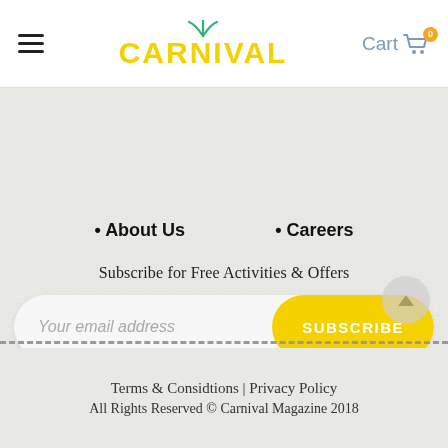Carnival — Cart 0
• About Us
• Careers
Subscribe for Free Activities & Offers
Your email address
SUBSCRIBE
Terms & Considtions | Privacy Policy
All Rights Reserved © Carnival Magazine 2018